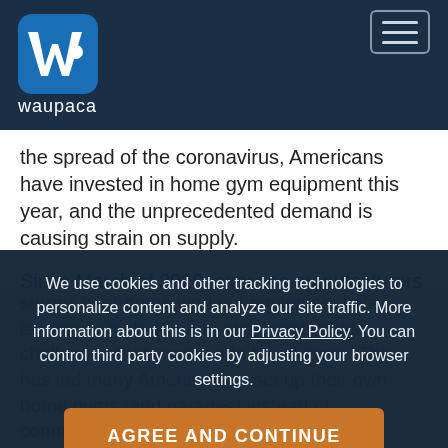[Figure (logo): Waupaca Foundry logo — stylized W icon in blue rounded square, with 'waupaca' text below in white]
the spread of the coronavirus, Americans have invested in home gym equipment this year, and the unprecedented demand is causing strain on supply.
Since March of 2020, exercise manufacturers have seen surges in at-home workout equipment sales, leading to high demand and supply chain challenges that continue to be an issue. This has led many Americans to set up their own home gyms (and garages) instead of commercial gyms.
We use cookies and other tracking technologies to personalize content and analyze our site traffic. More information about this is in our Privacy Policy. You can control third party cookies by adjusting your browser settings.
AGREE AND CONTINUE
The equipment shortage has impacted gyms and schools too. During the 2020-2021 school year, Menasha...